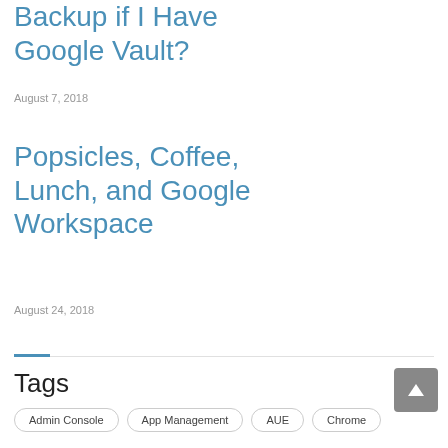Backup if I Have Google Vault?
August 7, 2018
Popsicles, Coffee, Lunch, and Google Workspace
August 24, 2018
Tags
Admin Console
App Management
AUE
Chrome